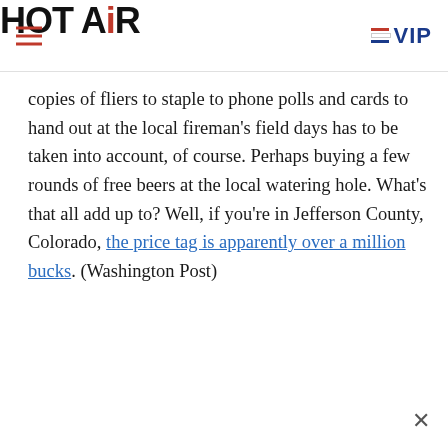HOT AIR | VIP
copies of fliers to staple to phone polls and cards to hand out at the local fireman’s field days has to be taken into account, of course. Perhaps buying a few rounds of free beers at the local watering hole. What’s that all add up to? Well, if you’re in Jefferson County, Colorado, the price tag is apparently over a million bucks. (Washington Post)